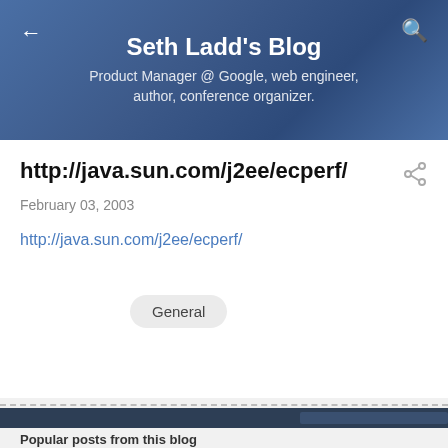Seth Ladd's Blog
Product Manager @ Google, web engineer, author, conference organizer.
http://java.sun.com/j2ee/ecperf/
February 03, 2003
http://java.sun.com/j2ee/ecperf/
General
Popular posts from this blog